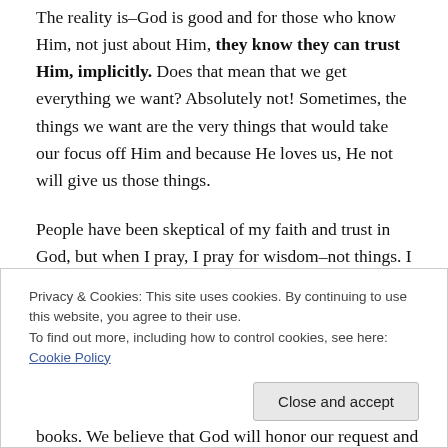The reality is–God is good and for those who know Him, not just about Him, they know they can trust Him, implicitly. Does that mean that we get everything we want? Absolutely not! Sometimes, the things we want are the very things that would take our focus off Him and because He loves us, He not will give us those things.
People have been skeptical of my faith and trust in God, but when I pray, I pray for wisdom–not things. I proclaim the promises fulfilled, even though I may have to wait to
Privacy & Cookies: This site uses cookies. By continuing to use this website, you agree to their use.
To find out more, including how to control cookies, see here: Cookie Policy
books. We believe that God will honor our request and